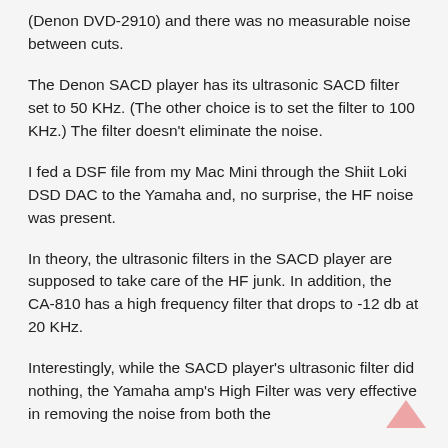(Denon DVD-2910) and there was no measurable noise between cuts.
The Denon SACD player has its ultrasonic SACD filter set to 50 KHz. (The other choice is to set the filter to 100 KHz.) The filter doesn't eliminate the noise.
I fed a DSF file from my Mac Mini through the Shiit Loki DSD DAC to the Yamaha and, no surprise, the HF noise was present.
In theory, the ultrasonic filters in the SACD player are supposed to take care of the HF junk. In addition, the CA-810 has a high frequency filter that drops to -12 db at 20 KHz.
Interestingly, while the SACD player's ultrasonic filter did nothing, the Yamaha amp's High Filter was very effective in removing the noise from both the